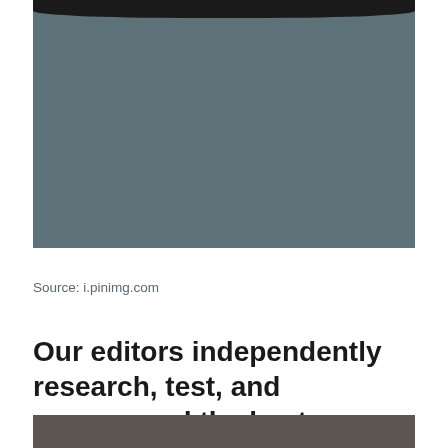[Figure (photo): A dark-toned product photo showing the bottom portion of what appears to be a slow cooker or similar kitchen appliance with a slate/steel blue-gray body against a white background. The top of the image shows a dark curved rim.]
Source: i.pinimg.com
Our editors independently research, test, and recommend the best products;
[Figure (photo): Bottom portion of another photo, showing a dark warm-toned surface, partially visible at the bottom of the page.]